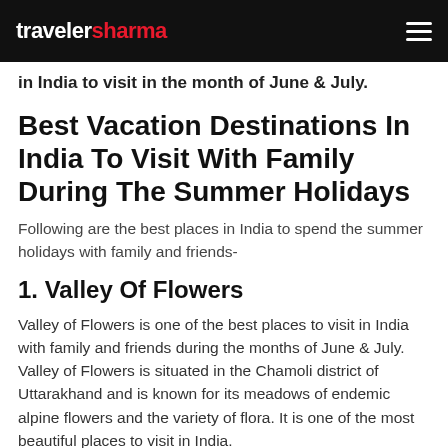travelersharma
in India to visit in the month of June & July.
Best Vacation Destinations In India To Visit With Family During The Summer Holidays
Following are the best places in India to spend the summer holidays with family and friends-
1. Valley Of Flowers
Valley of Flowers is one of the best places to visit in India with family and friends during the months of June & July. Valley of Flowers is situated in the Chamoli district of Uttarakhand and is known for its meadows of endemic alpine flowers and the variety of flora. It is one of the most beautiful places to visit in India.